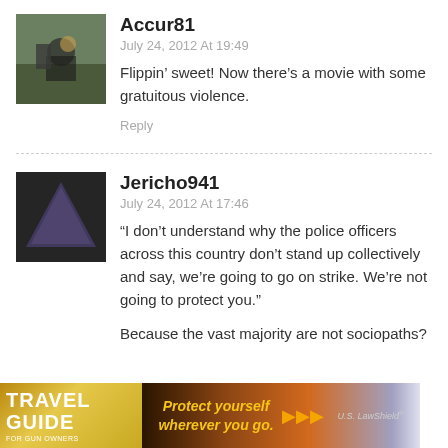[Figure (photo): Avatar photo of user Accur81 showing a person outdoors]
Accur81
July 24, 2012 At 19:49
Flippin’ sweet! Now there’s a movie with some gratuitous violence.
Reply
[Figure (photo): Avatar photo of user Jericho941 showing a close-up dark triangular shape]
Jericho941
July 24, 2012 At 17:46
“I don’t understand why the police officers across this country don’t stand up collectively and say, we’re going to go on strike. We’re not going to protect you.”

Because the vast majority are not sociopaths?
[Figure (photo): Advertisement banner for Travel Guide for Gun Owners featuring U.S. LawShield with text: Protect yourself wherever you go.]